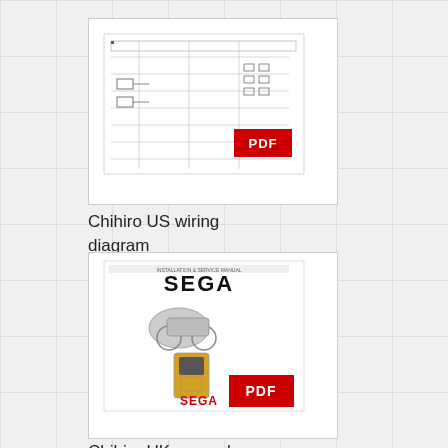[Figure (schematic): Thumbnail of a wiring diagram PDF document showing a technical schematic with a red PDF badge overlay]
Chihiro US wiring diagram
[Figure (other): Thumbnail of a SEGA Installation & Service Manual PDF document showing the cover with SEGA logo, motorcycle, and arcade cabinet, with a red PDF badge overlay]
Chihiro UK manual